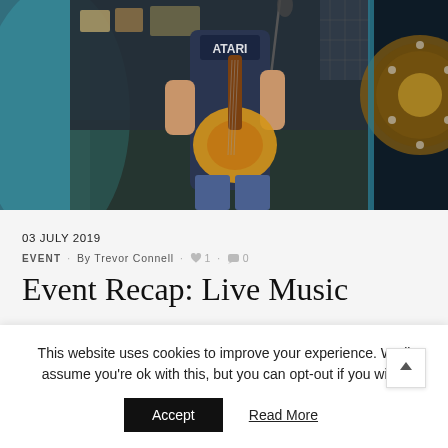[Figure (photo): Indoor live music performance: a man wearing an Atari t-shirt playing acoustic guitar at a microphone stand, with another person in teal shirt in foreground and a circular decorative element on right side.]
03 JULY 2019
EVENT · By Trevor Connell · ♥ 1 · 0
Event Recap: Live Music
This website uses cookies to improve your experience. We'll assume you're ok with this, but you can opt-out if you wish.